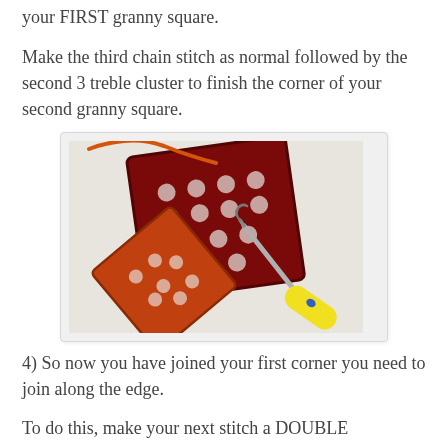your FIRST granny square.
Make the third chain stitch as normal followed by the second 3 treble cluster to finish the corner of your second granny square.
[Figure (photo): Photo showing two crocheted granny squares being joined together — a red/dark red square on top and an orange square on the bottom left — with a yellow-handled crochet hook connecting them at the corner, on a light background.]
4) So now you have joined your first corner you need to join along the edge.
To do this, make your next stitch a DOUBLE